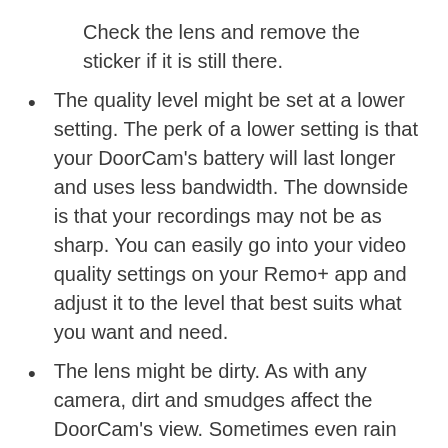Check the lens and remove the sticker if it is still there.
The quality level might be set at a lower setting. The perk of a lower setting is that your DoorCam's battery will last longer and uses less bandwidth. The downside is that your recordings may not be as sharp. You can easily go into your video quality settings on your Remo+ app and adjust it to the level that best suits what you want and need.
The lens might be dirty. As with any camera, dirt and smudges affect the DoorCam's view. Sometimes even rain and fog will